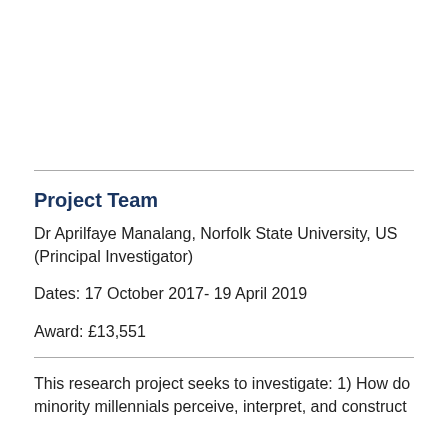Project Team
Dr Aprilfaye Manalang, Norfolk State University, US (Principal Investigator)
Dates: 17 October 2017- 19 April 2019
Award: £13,551
This research project seeks to investigate: 1) How do minority millennials perceive, interpret, and construct